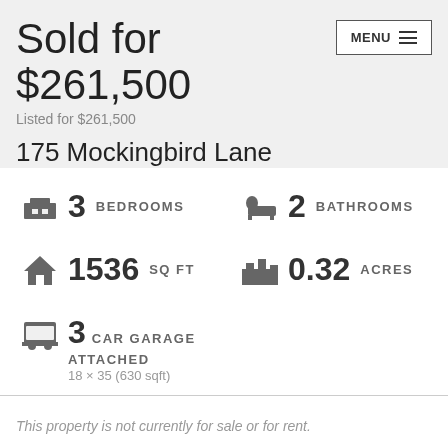Sold for $261,500
Listed for $261,500
175 Mockingbird Lane
3 BEDROOMS
2 BATHROOMS
1536 SQ FT
0.32 ACRES
3 CAR GARAGE
ATTACHED
18 × 35 (630 sqft)
This property is not currently for sale or for rent.